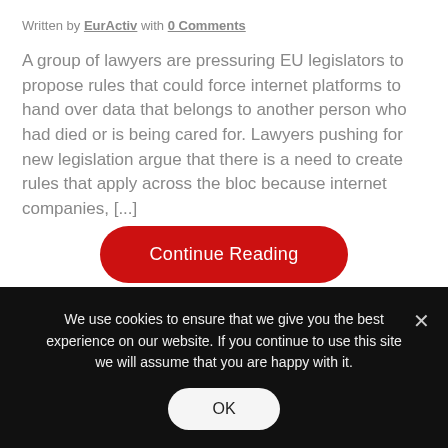Written by EurActiv with 0 Comments
A group of lawyers are pressuring EU legislators to propose rules that could force internet platforms to hand over data that belongs to another person who had died or is being cared for. Lawyers pushing for new legislation argue that there is a need to create rules that apply across the bloc because internet companies, [...]
[Figure (other): Red 'Continue Reading' button with rounded corners]
We use cookies to ensure that we give you the best experience on our website. If you continue to use this site we will assume that you are happy with it.
[Figure (other): OK button in cookie consent bar]